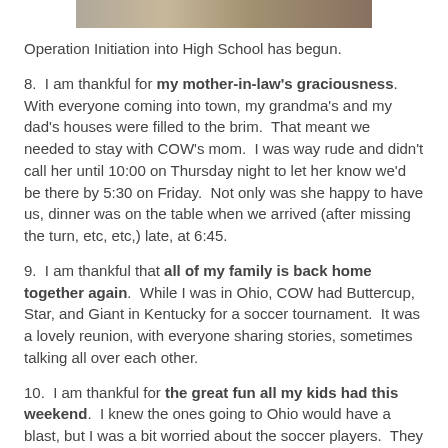[Figure (photo): Cropped photo strip at top of page showing people]
Operation Initiation into High School has begun.
8.  I am thankful for my mother-in-law's graciousness. With everyone coming into town, my grandma's and my dad's houses were filled to the brim.  That meant we needed to stay with COW's mom.  I was way rude and didn't call her until 10:00 on Thursday night to let her know we'd be there by 5:30 on Friday.  Not only was she happy to have us, dinner was on the table when we arrived (after missing the turn, etc, etc,) late, at 6:45.
9.  I am thankful that all of my family is back home together again.  While I was in Ohio, COW had Buttercup, Star, and Giant in Kentucky for a soccer tournament.  It was a lovely reunion, with everyone sharing stories, sometimes talking all over each other.
10.  I am thankful for the great fun all my kids had this weekend.  I knew the ones going to Ohio would have a blast, but I was a bit worried about the soccer players.  They